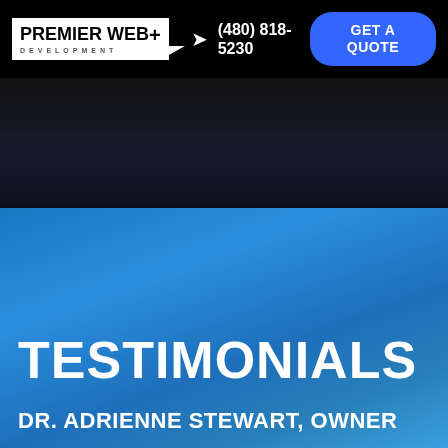PREMIER WEB+ DEVELOPMENT | (480) 818-5230 | GET A QUOTE
[Figure (photo): Dark hero image background with blue gradient section below]
TESTIMONIALS
DR. ADRIENNE STEWART, OWNER